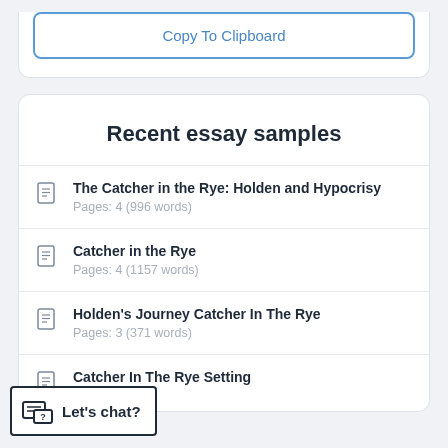Copy To Clipboard
Recent essay samples
The Catcher in the Rye: Holden and Hypocrisy
Pages: 4 (996 words)
Catcher in the Rye
Pages: 4 (1157 words)
Holden's Journey Catcher In The Rye
Pages: 3 (371 words)
Catcher In The Rye Setting